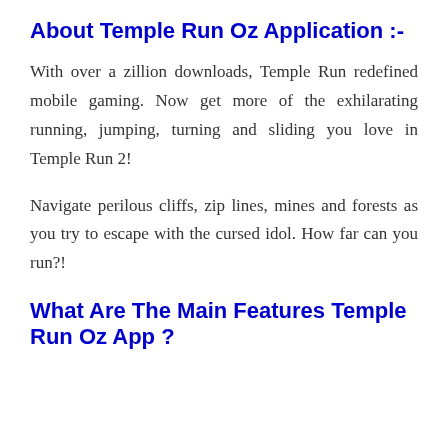About Temple Run Oz Application :-
With over a zillion downloads, Temple Run redefined mobile gaming. Now get more of the exhilarating running, jumping, turning and sliding you love in Temple Run 2!
Navigate perilous cliffs, zip lines, mines and forests as you try to escape with the cursed idol. How far can you run?!
What Are The Main Features Temple Run Oz App ?